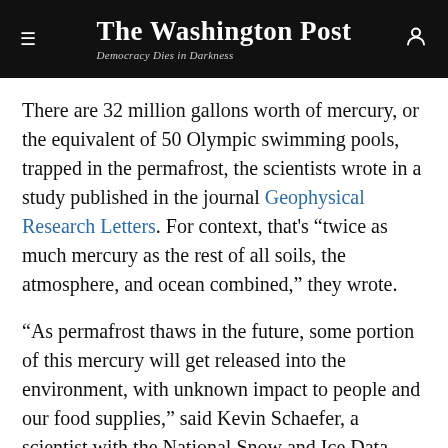The Washington Post — Democracy Dies in Darkness
There are 32 million gallons worth of mercury, or the equivalent of 50 Olympic swimming pools, trapped in the permafrost, the scientists wrote in a study published in the journal Geophysical Research Letters. For context, that's "twice as much mercury as the rest of all soils, the atmosphere, and ocean combined," they wrote.
"As permafrost thaws in the future, some portion of this mercury will get released into the environment, with unknown impact to people and our food supplies," said Kevin Schaefer, a scientist with the National Snow and Ice Data Center in Boulder, Colo., and a co-author of